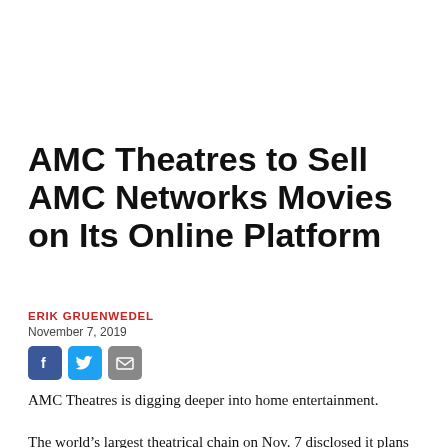AMC Theatres to Sell AMC Networks Movies on Its Online Platform
ERIK GRUENWEDEL
November 7, 2019
[Figure (other): Social media sharing icons: Facebook, Twitter, Email]
AMC Theatres is digging deeper into home entertainment.
The world’s largest theatrical chain on Nov. 7 disclosed it plans to start selling AMC Networks movies on its digital platform, AMC Theatres On...